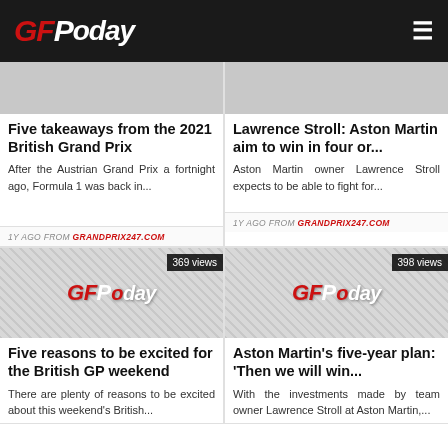GFToday
[Figure (screenshot): Partially visible top image for Five takeaways article]
Five takeaways from the 2021 British Grand Prix
After the Austrian Grand Prix a fortnight ago, Formula 1 was back in...
1Y AGO FROM GRANDPRIX247.COM
[Figure (screenshot): Partially visible top image for Lawrence Stroll article]
Lawrence Stroll: Aston Martin aim to win in four or...
Aston Martin owner Lawrence Stroll expects to be able to fight for...
1Y AGO FROM GRANDPRIX247.COM
[Figure (logo): GFToday logo placeholder image with 369 views badge]
Five reasons to be excited for the British GP weekend
There are plenty of reasons to be excited about this weekend's British...
[Figure (logo): GFToday logo placeholder image with 398 views badge]
Aston Martin's five-year plan: 'Then we will win...
With the investments made by team owner Lawrence Stroll at Aston Martin,...